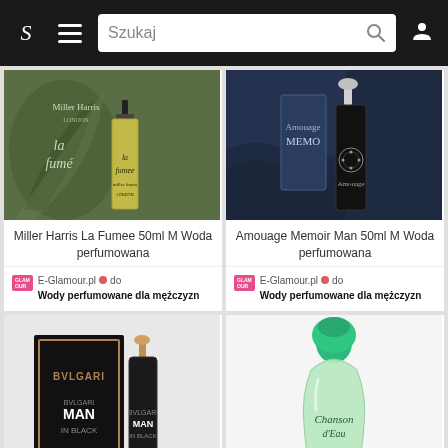S  ≡  Szukaj  🔍  👤
[Figure (photo): Miller Harris La Fumee perfume box and bottle, green botanical design with yellow bottle]
Miller Harris La Fumee 50ml M Woda perfumowana
E-Glamour.pl 🔴 do
Wody perfumowane dla mężczyzn
[Figure (photo): Amouage Memoir Man perfume, dark navy/black bottle with silver cap and ornate emblem]
Amouage Memoir Man 50ml M Woda perfumowana
E-Glamour.pl 🔴 do
Wody perfumowane dla mężczyzn
[Figure (photo): Bvlgari Man in Black perfume box and bottle, dark black with rose gold accents]
[Figure (photo): Chanson d'Eau perfume, light green teardrop bottle with teal/green cap]